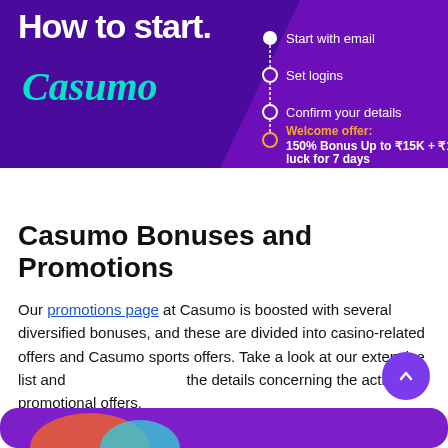[Figure (screenshot): Purple background promotional image for Casumo casino showing 'How to start' steps (Start with email, Set logins, Confirm your details) with Welcome offer: 150% Bonus Up to ₹15K + ₹101 for luck for 7 days. Casumo logo in teal/cyan. TERMS text at bottom.]
Casumo Bonuses and Promotions
Our promotions page at Casumo is boosted with several diversified bonuses, and these are divided into casino-related offers and Casumo sports offers. Take a look at our extensive list and the details concerning the active promotional offers.
[Figure (photo): Bottom portion of another Casumo promotional image with purple background, partially visible.]